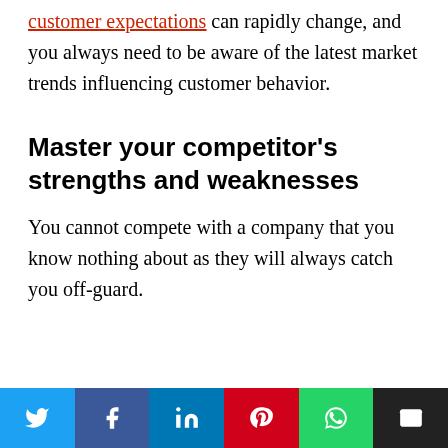customer expectations can rapidly change, and you always need to be aware of the latest market trends influencing customer behavior.
Master your competitor's strengths and weaknesses
You cannot compete with a company that you know nothing about as they will always catch you off-guard.
Social share buttons: Twitter, Facebook, LinkedIn, Pinterest, WhatsApp, Email